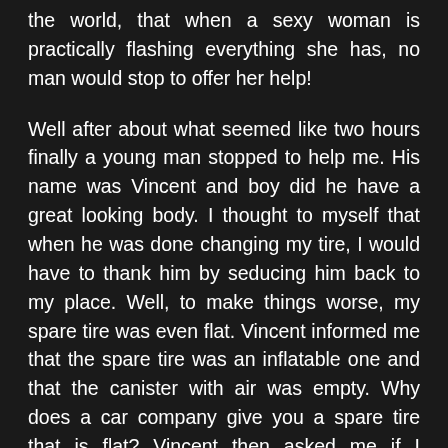the world, that when a sexy woman is practically flashing everything she has, no man would stop to offer her help!

Well after about what seemed like two hours finally a young man stopped to help me. His name was Vincent and boy did he have a great looking body. I thought to myself that when he was done changing my tire, I would have to thank him by seducing him back to my place. Well, to make things worse, my spare tire was even flat. Vincent informed me that the spare tire was an inflatable one and that the canister with air was empty. Why does a car company give you a spare tire that is flat? Vincent then asked me if I needed a lift somewhere. I told him that I lived about twenty minutes away but would offer him some money to bring me home. He put the spare tire into the back of his car and told me all I would need to do is bring the tire to the gas station and fill it with air. When we